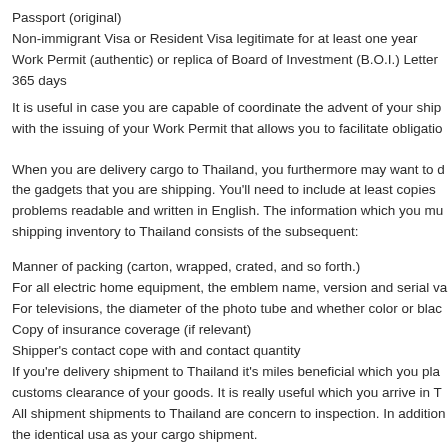Passport (original)
Non-immigrant Visa or Resident Visa legitimate for at least one year
Work Permit (authentic) or replica of Board of Investment (B.O.I.) Letter 365 days
It is useful in case you are capable of coordinate the advent of your ship with the issuing of your Work Permit that allows you to facilitate obligatio
When you are delivery cargo to Thailand, you furthermore may want to d the gadgets that you are shipping. You'll need to include at least copies problems readable and written in English. The information which you mu shipping inventory to Thailand consists of the subsequent:
Manner of packing (carton, wrapped, crated, and so forth.)
For all electric home equipment, the emblem name, version and serial va
For televisions, the diameter of the photo tube and whether color or blac
Copy of insurance coverage (if relevant)
Shipper's contact cope with and contact quantity
If you're delivery shipment to Thailand it's miles beneficial which you pla customs clearance of your goods. It is really useful which you arrive in T
All shipment shipments to Thailand are concern to inspection. In addition the identical usa as your cargo shipment.
You may modify obligations between your to be had here and also...